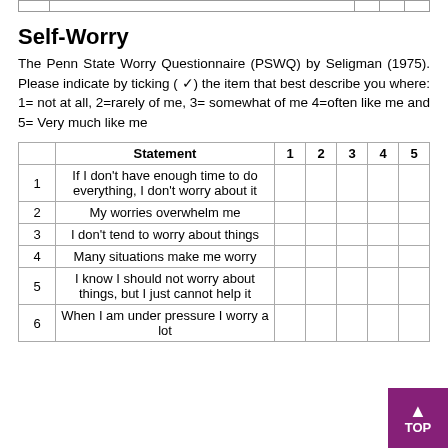|  |  |  |  |  |  |  |
| --- | --- | --- | --- | --- | --- | --- |
|  |  |  |  |  |  |  |
Self-Worry
The Penn State Worry Questionnaire (PSWQ) by Seligman (1975). Please indicate by ticking ( ✓) the item that best describe you where: 1= not at all, 2=rarely of me, 3= somewhat of me 4=often like me and 5= Very much like me
|  | Statement | 1 | 2 | 3 | 4 | 5 |
| --- | --- | --- | --- | --- | --- | --- |
| 1 | If I don't have enough time to do everything, I don't worry about it |  |  |  |  |  |
| 2 | My worries overwhelm me |  |  |  |  |  |
| 3 | I don't tend to worry about things |  |  |  |  |  |
| 4 | Many situations make me worry |  |  |  |  |  |
| 5 | I know I should not worry about things, but I just cannot help it |  |  |  |  |  |
| 6 | When I am under pressure I worry a lot |  |  |  |  |  |